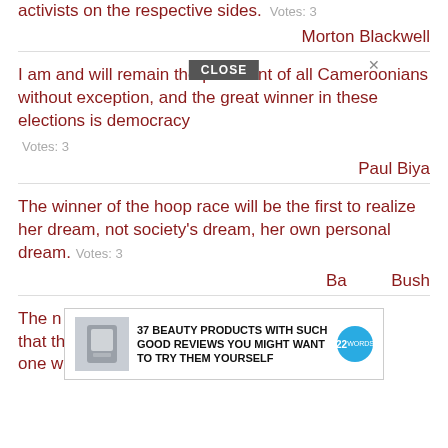activists on the respective sides. Votes: 3
Morton Blackwell
I am and will remain the president of all Cameroonians without exception, and the great winner in these elections is democracy   Votes: 3
Paul Biya
The winner of the hoop race will be the first to realize her dream, not society's dream, her own personal dream.   Votes: 3
Barbara Bush
The most important thing I learned... is that the winner of a gunplay usually was the one who took his time.   Votes: 3
[Figure (screenshot): Advertisement overlay: '37 BEAUTY PRODUCTS WITH SUCH GOOD REVIEWS YOU MIGHT WANT TO TRY THEM YOURSELF' with a product image and 22 Words badge, plus a CLOSE button]